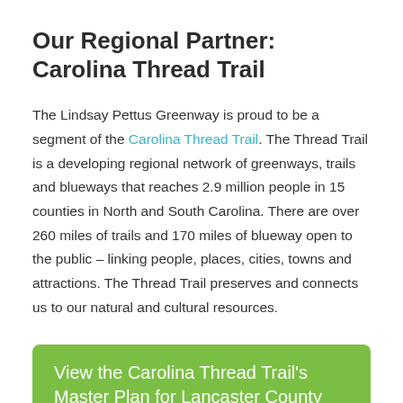Our Regional Partner: Carolina Thread Trail
The Lindsay Pettus Greenway is proud to be a segment of the Carolina Thread Trail. The Thread Trail is a developing regional network of greenways, trails and blueways that reaches 2.9 million people in 15 counties in North and South Carolina. There are over 260 miles of trails and 170 miles of blueway open to the public – linking people, places, cities, towns and attractions. The Thread Trail preserves and connects us to our natural and cultural resources.
View the Carolina Thread Trail's Master Plan for Lancaster County